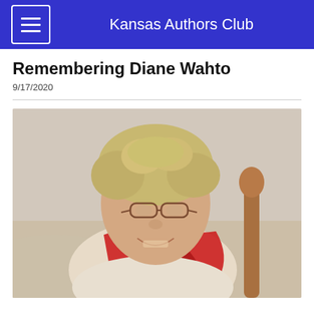Kansas Authors Club
Remembering Diane Wahto
9/17/2020
[Figure (photo): Portrait photo of an elderly woman with short curly blonde/gray hair, wearing glasses and a red patterned scarf, smiling warmly. She is seated in a light-colored upholstered chair. A wooden furniture piece is visible in the background against a beige wallpapered wall.]